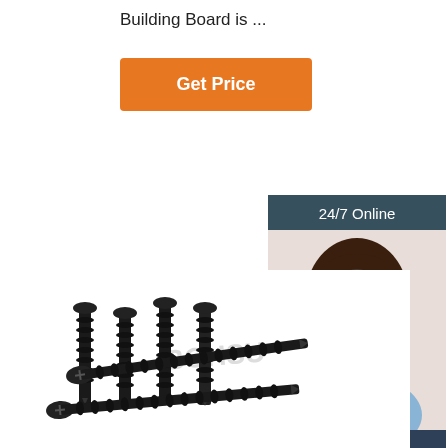Building Board is ...
Get Price
24/7 Online
[Figure (photo): Customer service agent woman wearing headset, smiling, with dark hair, light blue shirt]
Click here for free chat !
QUOTATION
[Figure (photo): Multiple black drywall screws, some standing upright and two lying flat showing threaded shafts, with watermark BOHSU]